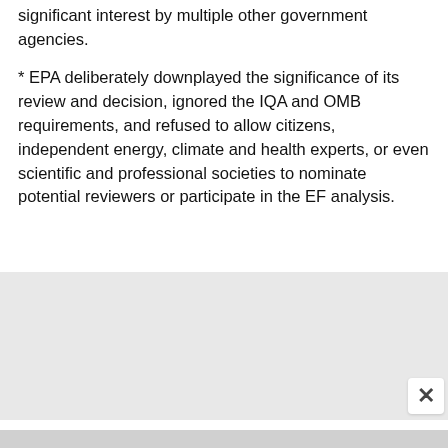significant interest by multiple other government agencies.
* EPA deliberately downplayed the significance of its review and decision, ignored the IQA and OMB requirements, and refused to allow citizens, independent energy, climate and health experts, or even scientific and professional societies to nominate potential reviewers or participate in the EF analysis.